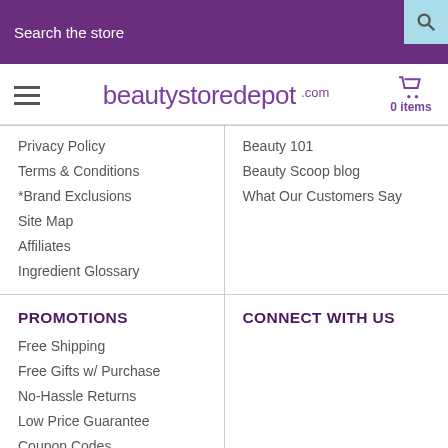Search the store
[Figure (logo): beautystoredepot.com logo with hamburger menu and cart showing 0 items]
Privacy Policy
Terms & Conditions
*Brand Exclusions
Site Map
Affiliates
Ingredient Glossary
Beauty 101
Beauty Scoop blog
What Our Customers Say
PROMOTIONS
CONNECT WITH US
Free Shipping
Free Gifts w/ Purchase
No-Hassle Returns
Low Price Guarantee
Coupon Codes